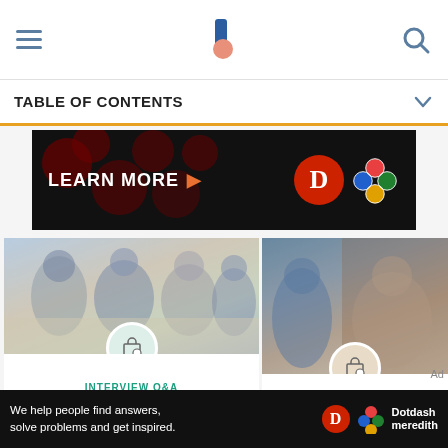TABLE OF CONTENTS
[Figure (photo): Advertisement banner with 'LEARN MORE' text, Discover card logo and Dotdash Meredith logo on black background]
[Figure (photo): Group of coworkers sitting at a table in a meeting, with a briefcase/search icon badge]
INTERVIEW Q&A
Learn to Answer Interview Questions About Co-Workers and Supervisors
[Figure (photo): Interview scene with two people, woman in white top, with a briefcase/search icon badge]
QUESTIONS ABOUT YOU
How to Answer Job Interview Question About Evaluating...
[Figure (photo): Bottom advertisement: 'We help people find answers, solve problems and get inspired.' with Dotdash Meredith logo]